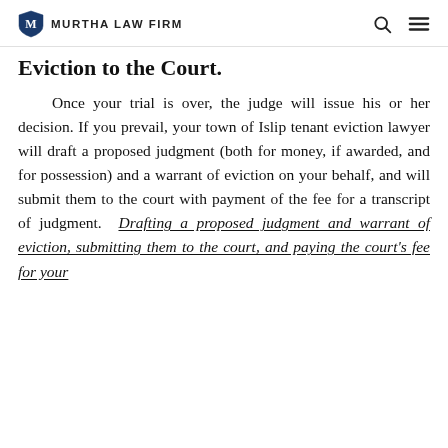MURTHA LAW FIRM
Eviction to the Court.
Once your trial is over, the judge will issue his or her decision. If you prevail, your town of Islip tenant eviction lawyer will draft a proposed judgment (both for money, if awarded, and for possession) and a warrant of eviction on your behalf, and will submit them to the court with payment of the fee for a transcript of judgment. Drafting a proposed judgment and warrant of eviction, submitting them to the court, and paying the court's fee for your